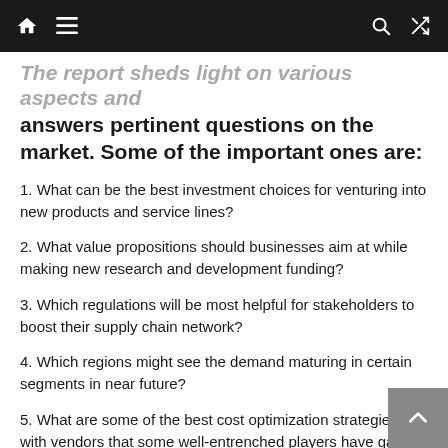Navigation bar with home, menu, search, and shuffle icons
answers pertinent questions on the market. Some of the important ones are:
1. What can be the best investment choices for venturing into new products and service lines?
2. What value propositions should businesses aim at while making new research and development funding?
3. Which regulations will be most helpful for stakeholders to boost their supply chain network?
4. Which regions might see the demand maturing in certain segments in near future?
5. What are some of the best cost optimization strategies with vendors that some well-entrenched players have gained success